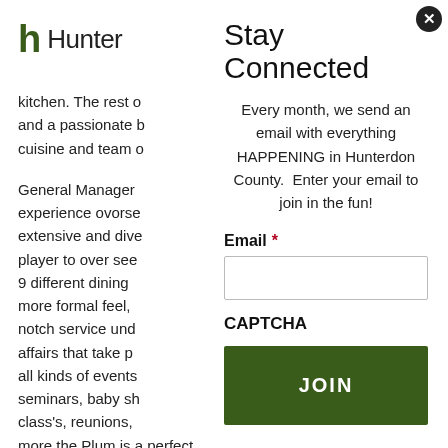[Figure (logo): Hunter logo with stylized 'h' in dark green and word 'Hunter' in black]
Stay Connected
Every month, we send an email with everything HAPPENING in Hunterdon County.  Enter your email to join in the fun!
kitchen. The rest o and a passionate b cuisine and team o
General Manager experience ovorse extensive and dive player to over see 9 different dining more formal feel, notch service und affairs that take p all kinds of events seminars, baby sh class's, reunions, more the Plum is a perfect Bucks County gem. It's not just the